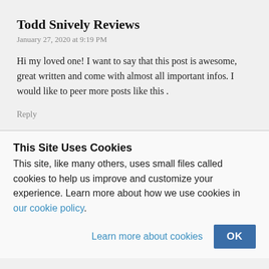Todd Snively Reviews
January 27, 2020 at 9:19 PM
Hi my loved one! I want to say that this post is awesome, great written and come with almost all important infos. I would like to peer more posts like this .
Reply
This Site Uses Cookies
This site, like many others, uses small files called cookies to help us improve and customize your experience. Learn more about how we use cookies in our cookie policy.
Learn more about cookies  OK